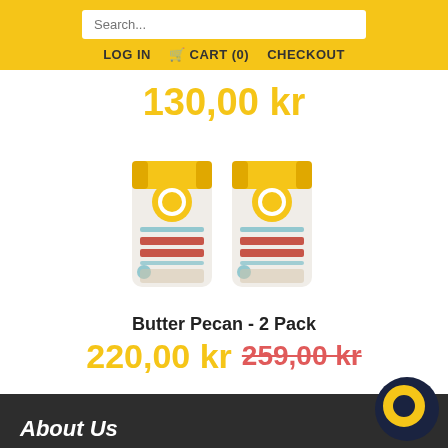Search... LOG IN CART (0) CHECKOUT
130,00 kr
[Figure (photo): Two bags of Butter Pecan Cookie mix with yellow packaging, side by side]
Butter Pecan - 2 Pack
220,00 kr 259,00 kr
About Us